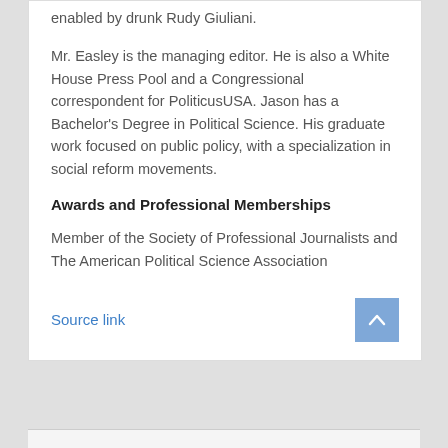enabled by drunk Rudy Giuliani.
Mr. Easley is the managing editor. He is also a White House Press Pool and a Congressional correspondent for PoliticusUSA. Jason has a Bachelor's Degree in Political Science. His graduate work focused on public policy, with a specialization in social reform movements.
Awards and Professional Memberships
Member of the Society of Professional Journalists and The American Political Science Association
Source link